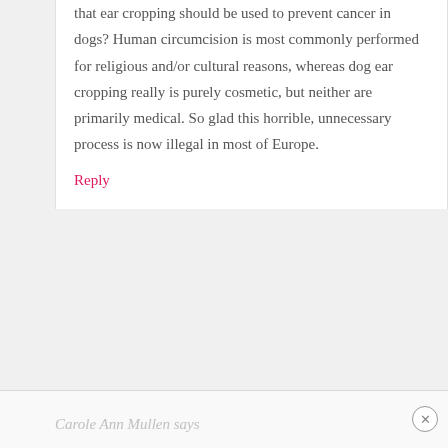that ear cropping should be used to prevent cancer in dogs? Human circumcision is most commonly performed for religious and/or cultural reasons, whereas dog ear cropping really is purely cosmetic, but neither are primarily medical. So glad this horrible, unnecessary process is now illegal in most of Europe.
Reply
Carole Ann Mullen says